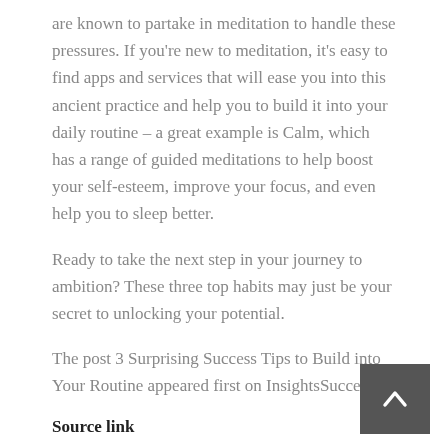are known to partake in meditation to handle these pressures. If you're new to meditation, it's easy to find apps and services that will ease you into this ancient practice and help you to build it into your daily routine – a great example is Calm, which has a range of guided meditations to help boost your self-esteem, improve your focus, and even help you to sleep better.
Ready to take the next step in your journey to ambition? These three top habits may just be your secret to unlocking your potential.
The post 3 Surprising Success Tips to Build into Your Routine appeared first on InsightsSuccess.
Source link